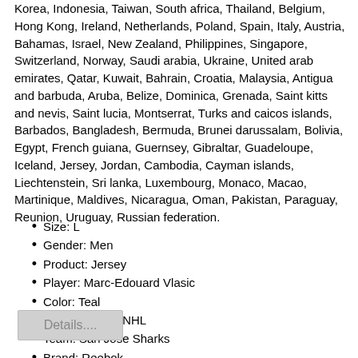Korea, Indonesia, Taiwan, South africa, Thailand, Belgium, Hong Kong, Ireland, Netherlands, Poland, Spain, Italy, Austria, Bahamas, Israel, New Zealand, Philippines, Singapore, Switzerland, Norway, Saudi arabia, Ukraine, United arab emirates, Qatar, Kuwait, Bahrain, Croatia, Malaysia, Antigua and barbuda, Aruba, Belize, Dominica, Grenada, Saint kitts and nevis, Saint lucia, Montserrat, Turks and caicos islands, Barbados, Bangladesh, Bermuda, Brunei darussalam, Bolivia, Egypt, French guiana, Guernsey, Gibraltar, Guadeloupe, Iceland, Jersey, Jordan, Cambodia, Cayman islands, Liechtenstein, Sri lanka, Luxembourg, Monaco, Macao, Martinique, Maldives, Nicaragua, Oman, Pakistan, Paraguay, Reunion, Uruguay, Russian federation.
Size: L
Gender: Men
Product: Jersey
Player: Marc-Edouard Vlasic
Color: Teal
Sport: Hockey-NHL
Team: San Jose Sharks
Brand: Reebok